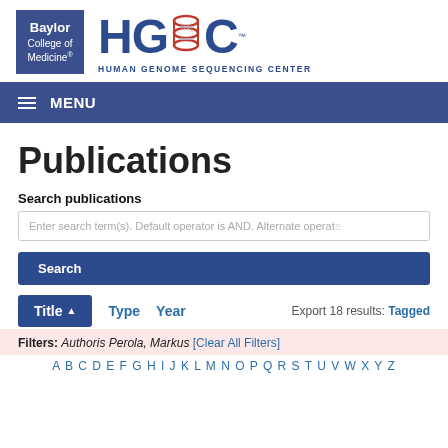[Figure (logo): Baylor College of Medicine logo (blue square) and HGSC Human Genome Sequencing Center logo with DNA helix graphic]
MENU
Publications
Search publications
Enter search term(s). Default operator is AND. Alternate operator
Search
Title ▲   Type   Year   Export 18 results: Tagged
Filters: Author is Perola, Markus [Clear All Filters]
A B C D E F G H I J K L M N O P Q R S T U V W X Y Z